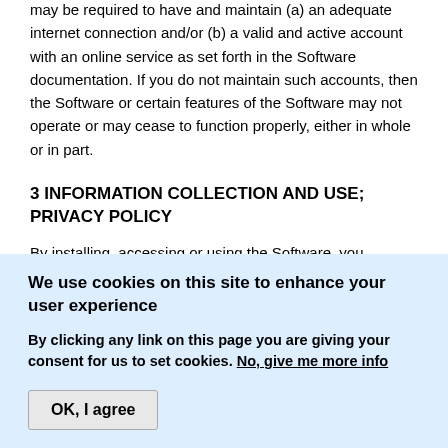may be required to have and maintain (a) an adequate internet connection and/or (b) a valid and active account with an online service as set forth in the Software documentation. If you do not maintain such accounts, then the Software or certain features of the Software may not operate or may cease to function properly, either in whole or in part.
3 INFORMATION COLLECTION AND USE; PRIVACY POLICY
By installing, accessing or using the Software, you consent
We use cookies on this site to enhance your user experience
By clicking any link on this page you are giving your consent for us to set cookies. No, give me more info
OK, I agree